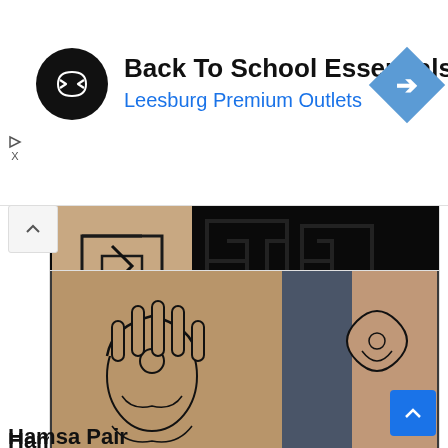[Figure (screenshot): Advertisement banner for Back To School Essentials at Leesburg Premium Outlets with circular logo and blue navigation arrow icon]
[Figure (photo): Close-up tattoo photo showing geometric/Greek key pattern tattoo in black ink on skin, mostly dark background]
Source: sara.snbtattoo
Hamsa Pair
[Figure (photo): Photo of two forearms showing matching Hamsa hand tattoos in black ink, with decorative floral and ornamental details]